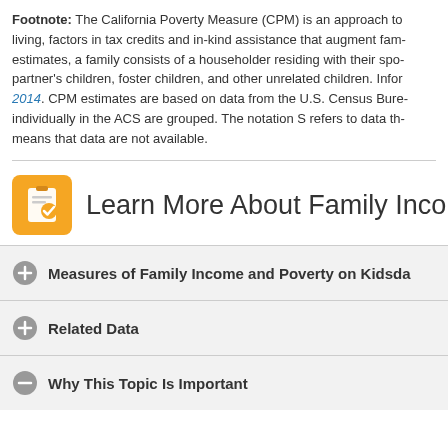Footnote: The California Poverty Measure (CPM) is an approach to living, factors in tax credits and in-kind assistance that augment family estimates, a family consists of a householder residing with their spouse/partner's children, foster children, and other unrelated children. Information 2014. CPM estimates are based on data from the U.S. Census Bureau individually in the ACS are grouped. The notation S refers to data that means that data are not available.
Learn More About Family Income
Measures of Family Income and Poverty on Kidsda...
Related Data
Why This Topic Is Important